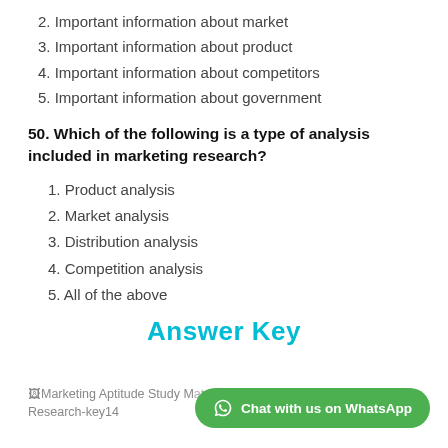2. Important information about market
3. Important information about product
4. Important information about competitors
5. Important information about government
50. Which of the following is a type of analysis included in marketing research?
1. Product analysis
2. Market analysis
3. Distribution analysis
4. Competition analysis
5. All of the above
Answer Key
Marketing Aptitude Study Material- Marketing Research-key14